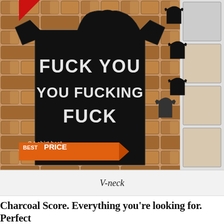[Figure (photo): Product photo of a black v-neck t-shirt with text 'FUCK YOU YOU FUCKING FUCK' printed in white block letters on the chest, displayed against a stone wall background. Watermark reads 't-shirt best T-SHIRTBEST.COM'. Badges: 'BEST PRICE' in orange lower left, '100% PREMIUM QUALITY TOP CHOICE' gold seal lower right. Red sale tag top left corner. Four thumbnail images of the same shirt in different styles on the right side.]
V-neck
Charcoal Score. Everything you're looking for. Perfect